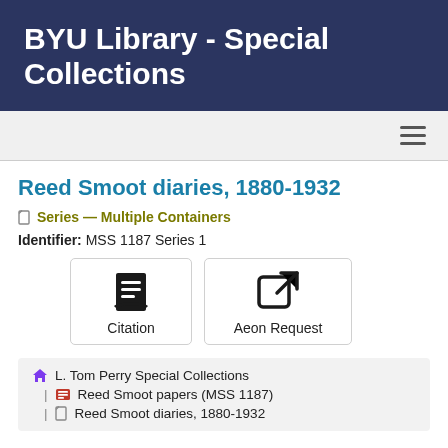BYU Library - Special Collections
Reed Smoot diaries, 1880-1932
Series — Multiple Containers
Identifier: MSS 1187 Series 1
[Figure (illustration): Citation button with book icon]
[Figure (illustration): Aeon Request button with external link icon]
L. Tom Perry Special Collections | Reed Smoot papers (MSS 1187) | Reed Smoot diaries, 1880-1932